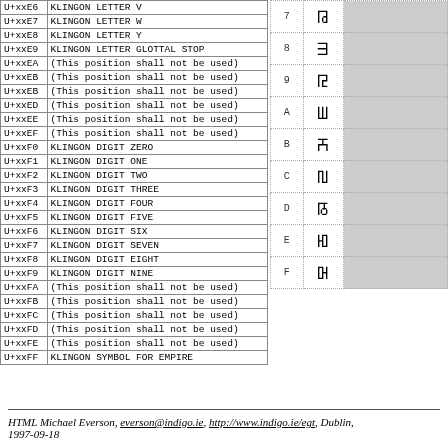| Code | Name |
| --- | --- |
| U+xxE6 | KLINGON LETTER V |
| U+xxE7 | KLINGON LETTER W |
| U+xxE8 | KLINGON LETTER Y |
| U+xxE9 | KLINGON LETTER GLOTTAL STOP |
| U+xxEA | (This position shall not be used) |
| U+xxEB | (This position shall not be used) |
| U+xxEB | (This position shall not be used) |
| U+xxED | (This position shall not be used) |
| U+xxEE | (This position shall not be used) |
| U+xxEF | (This position shall not be used) |
| U+xxF0 | KLINGON DIGIT ZERO |
| U+xxF1 | KLINGON DIGIT ONE |
| U+xxF2 | KLINGON DIGIT TWO |
| U+xxF3 | KLINGON DIGIT THREE |
| U+xxF4 | KLINGON DIGIT FOUR |
| U+xxF5 | KLINGON DIGIT FIVE |
| U+xxF6 | KLINGON DIGIT SIX |
| U+xxF7 | KLINGON DIGIT SEVEN |
| U+xxF8 | KLINGON DIGIT EIGHT |
| U+xxF9 | KLINGON DIGIT NINE |
| U+xxFA | (This position shall not be used) |
| U+xxFB | (This position shall not be used) |
| U+xxFC | (This position shall not be used) |
| U+xxFD | (This position shall not be used) |
| U+xxFE | (This position shall not be used) |
| U+xxFF | KLINGON SYMBOL FOR EMPIRE |
[Figure (other): Klingon character glyph chart showing rows 7-F with Klingon script glyphs in columns]
HTML Michael Everson, everson@indigo.ie, http://www.indigo.ie/egt, Dublin, 1997-09-18